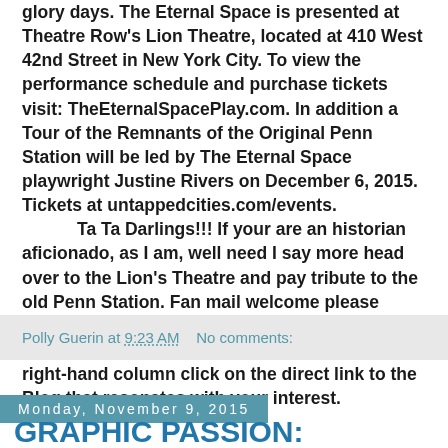glory days. The Eternal Space is presented at Theatre Row's Lion Theatre, located at 410 West 42nd Street in New York City. To view the performance schedule and purchase tickets visit: TheEternalSpacePlay.com. In addition a Tour of the Remnants of the Original Penn Station will be led by The Eternal Space playwright Justine Rivers on December 6, 2015. Tickets at untappedcities.com/events.
	Ta Ta Darlings!!! If your are an historian aficionado, as I am, well need I say more head over to the Lion's Theatre and pay tribute to the old Penn Station. Fan mail welcome please email me at pollytalknyc@gmail.com. Visit Polly's Blogs at www.pollytalk.com and in the right-hand column click on the direct link to the Blog that resonates with your interest.
Polly Guerin at 9:23 AM   No comments:
Monday, November 9, 2015
GRAPHIC PASSION: MATISSE AND